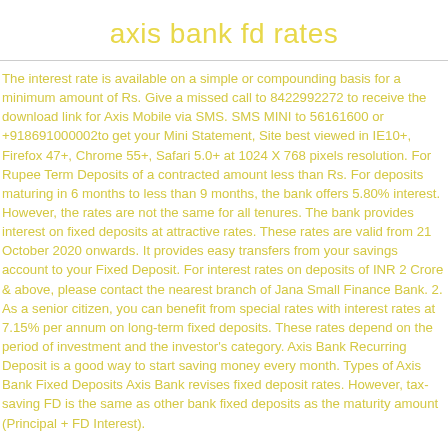axis bank fd rates
The interest rate is available on a simple or compounding basis for a minimum amount of Rs. Give a missed call to 8422992272 to receive the download link for Axis Mobile via SMS. SMS MINI to 56161600 or +918691000002to get your Mini Statement, Site best viewed in IE10+, Firefox 47+, Chrome 55+, Safari 5.0+ at 1024 X 768 pixels resolution. For Rupee Term Deposits of a contracted amount less than Rs. For deposits maturing in 6 months to less than 9 months, the bank offers 5.80% interest. However, the rates are not the same for all tenures. The bank provides interest on fixed deposits at attractive rates. These rates are valid from 21 October 2020 onwards. It provides easy transfers from your savings account to your Fixed Deposit. For interest rates on deposits of INR 2 Crore & above, please contact the nearest branch of Jana Small Finance Bank. 2. As a senior citizen, you can benefit from special rates with interest rates at 7.15% per annum on long-term fixed deposits. These rates depend on the period of investment and the investor's category. Axis Bank Recurring Deposit is a good way to start saving money every month. Types of Axis Bank Fixed Deposits Axis Bank revises fixed deposit rates. However, tax-saving FD is the same as other bank fixed deposits as the maturity amount (Principal + FD Interest).